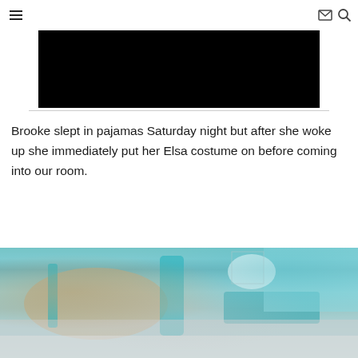Navigation header with hamburger menu, mail icon, and search icon
[Figure (photo): Black rectangle representing an embedded video or image placeholder]
Brooke slept in pajamas Saturday night but after she woke up she immediately put her Elsa costume on before coming into our room.
[Figure (photo): Photo of a child in a teal/blue Elsa costume on a bed with teal pillows and bedding]